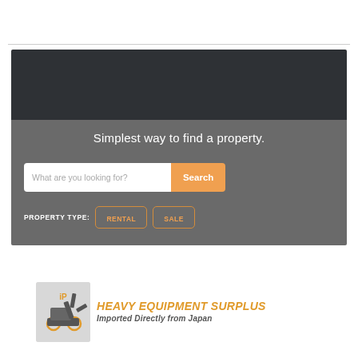[Figure (screenshot): Website UI showing a property search interface with a dark header area, search input box with 'What are you looking for?' placeholder, an orange 'Search' button, and property type filter buttons for 'RENTAL' and 'SALE' on a grey background with headline 'Simplest way to find a property.']
Simplest way to find a property.
[Figure (logo): Heavy Equipment Surplus logo with excavator icon and text 'HEAVY EQUIPMENT SURPLUS' in orange and 'Imported Directly from Japan' in grey italic below]